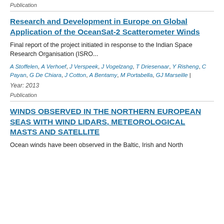Publication
Research and Development in Europe on Global Application of the OceanSat-2 Scatterometer Winds
Final report of the project initiated in response to the Indian Space Research Organisation (ISRO...
A Stoffelen, A Verhoef, J Verspeek, J Vogelzang, T Driesenaar, Y Risheng, C Payan, G De Chiara, J Cotton, A Bentamy, M Portabella, GJ Marseille | Year: 2013
Publication
WINDS OBSERVED IN THE NORTHERN EUROPEAN SEAS WITH WIND LIDARS, METEOROLOGICAL MASTS AND SATELLITE
Ocean winds have been observed in the Baltic, Irish and North